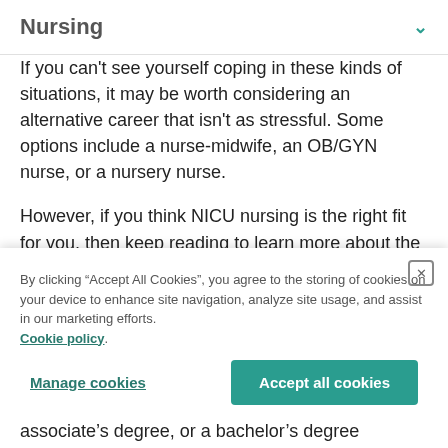Nursing
If you can't see yourself coping in these kinds of situations, it may be worth considering an alternative career that isn't as stressful. Some options include a nurse-midwife, an OB/GYN nurse, or a nursery nurse.
However, if you think NICU nursing is the right fit for you, then keep reading to learn more about the
By clicking “Accept All Cookies”, you agree to the storing of cookies on your device to enhance site navigation, analyze site usage, and assist in our marketing efforts. Cookie policy.
Manage cookies
Accept all cookies
associate’s degree, or a bachelor’s degree